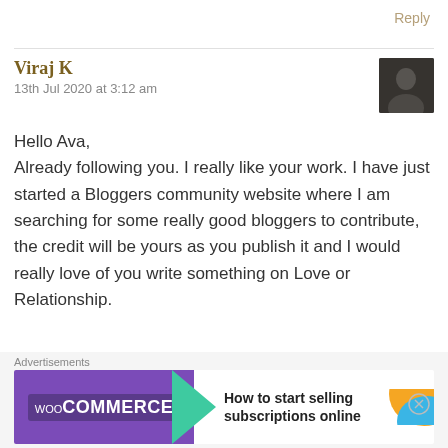Reply
Viraj K
13th Jul 2020 at 3:12 am
Hello Ava,
Already following you. I really like your work. I have just started a Bloggers community website where I am searching for some really good bloggers to contribute, the credit will be yours as you publish it and I would really love of you write something on Love or Relationship.
[Figure (other): WooCommerce advertisement banner: How to start selling subscriptions online]
Advertisements